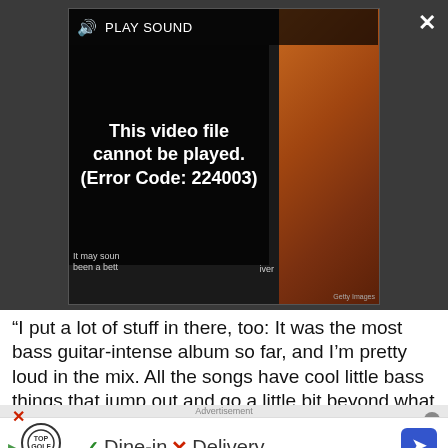[Figure (screenshot): Video player showing error message 'This video file cannot be played. (Error Code: 224003)' with PLAY SOUND button, partial caption text 'It may soun been a bett' and 'iver', orange abstract image on right side]
“I put a lot of stuff in there, too: It was the most bass guitar-intense album so far, and I’m pretty loud in the mix. All the songs have cool little bass things that jump out and go a little bit beyond what the guitar is doing in a particular section – for example, there’s a bunch of cool almost-solos on the bass in An Experiment In Homicide.
Advertisement
[Figure (screenshot): Topgolf advertisement banner with checkmark Dine-in and X Delivery text, navigation arrow icon on right]